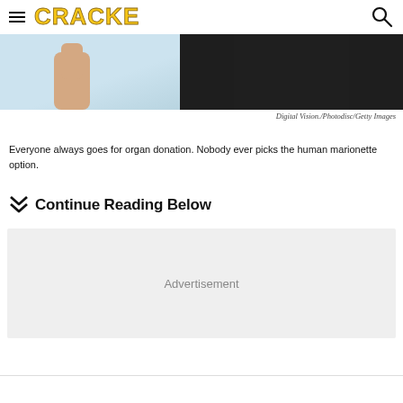CRACKED
[Figure (photo): Partial image of people, left side shows a light blue background with a hand/arm, right side shows a dark-suited figure from waist down]
Digital Vision./Photodisc/Getty Images
Everyone always goes for organ donation. Nobody ever picks the human marionette option.
Continue Reading Below
Advertisement